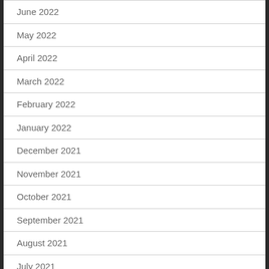June 2022
May 2022
April 2022
March 2022
February 2022
January 2022
December 2021
November 2021
October 2021
September 2021
August 2021
July 2021
June 2021
May 2021